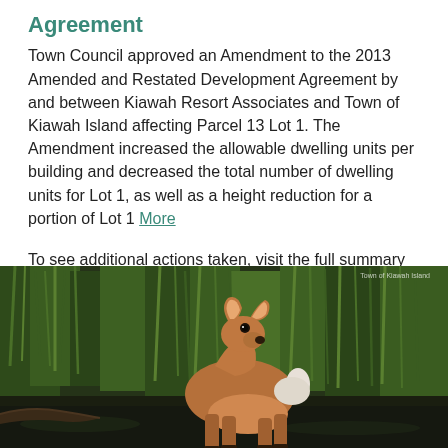Agreement
Town Council approved an Amendment to the 2013 Amended and Restated Development Agreement by and between Kiawah Resort Associates and Town of Kiawah Island affecting Parcel 13 Lot 1. The Amendment increased the allowable dwelling units per building and decreased the total number of dwelling units for Lot 1, as well as a height reduction for a portion of Lot 1 More
To see additional actions taken, visit the full summary here.
[Figure (photo): A white-tailed deer standing in a wetland area with tall green marsh grasses in the background, photographed on Kiawah Island.]